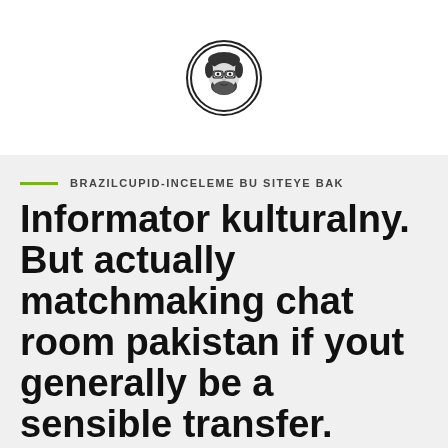[Figure (illustration): Circular avatar portrait of a bearded man with glasses, black and white illustration style, enclosed in a circle border]
BRAZILCUPID-INCELEME BU SITEYE BAK
Informator kulturalny. But actually matchmaking chat room pakistan if yout generally be a sensible transfer.